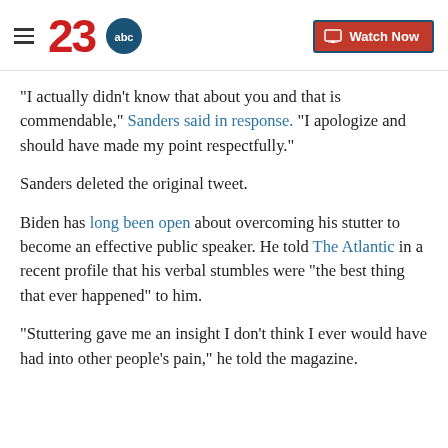23abc | Watch Now
"I actually didn't know that about you and that is commendable," Sanders said in response. "I apologize and should have made my point respectfully."
Sanders deleted the original tweet.
Biden has long been open about overcoming his stutter to become an effective public speaker. He told The Atlantic in a recent profile that his verbal stumbles were "the best thing that ever happened" to him.
"Stuttering gave me an insight I don't think I ever would have had into other people's pain," he told the magazine.